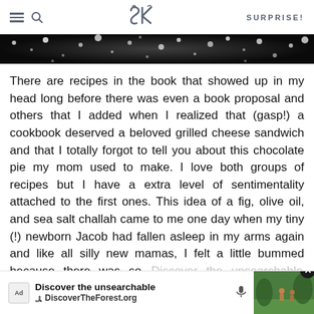SK  SURPRISE!
[Figure (photo): Dark bokeh/sparkle photo strip — black and white glittery background, appears to be foliage or bokeh lights]
There are recipes in the book that showed up in my head long before there was even a book proposal and others that I added when I realized that (gasp!) a cookbook deserved a beloved grilled cheese sandwich and that I totally forgot to tell you about this chocolate pie my mom used to make. I love both groups of recipes but I have a extra level of sentimentality attached to the first ones. This idea of a fig, olive oil, and sea salt challah came to me one day when my tiny (!) newborn Jacob had fallen asleep in my arms again and like all silly new mamas, I felt a little bummed because there was so [glued] in place [d]
[Figure (screenshot): Ad overlay at bottom: 'Discover the unsearchable / DiscoverTheForest.org' with mic icon, forest photo, and close button]